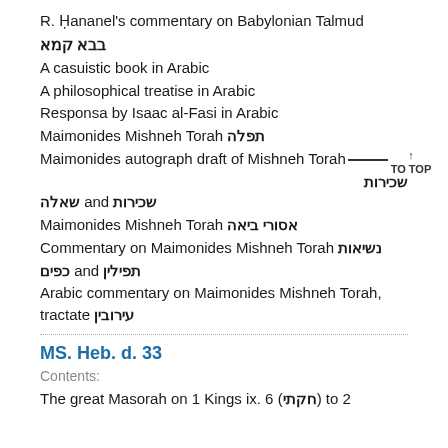R. Ḥananel's commentary on Babylonian Talmud
בבא קמא
A casuistic book in Arabic
A philosophical treatise in Arabic
Responsa by Isaac al-Fasi in Arabic
Maimonides Mishneh Torah תפלה
Maimonides autograph draft of Mishneh Torah [with TO TOP arrow]
שכירות and שאלה
Maimonides Mishneh Torah אסורי ביאה
Commentary on Maimonides Mishneh Torah נשיאות
כפים and תפילין
Arabic commentary on Maimonides Mishneh Torah, tractate עירובין
MS. Heb. d. 33
Contents:
The great Masorah on 1 Kings ix. 6 (חקתי) to 2